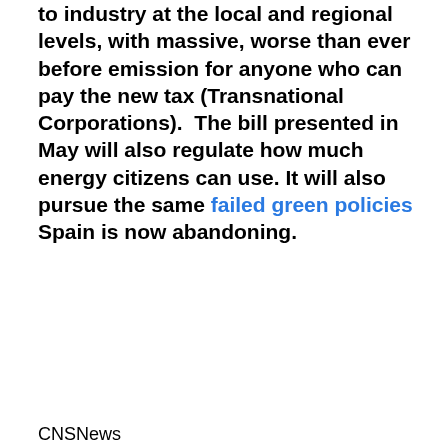to industry at the local and regional levels, with massive, worse than ever before emission for anyone who can pay the new tax (Transnational Corporations).  The bill presented in May will also regulate how much energy citizens can use. It will also pursue the same failed green policies Spain is now abandoning.
CNSNews
Senators John Kerry (D-Mass.) and Joe Lieberman (I-Conn.) said they are not worried that their cap-and-trade plan might harm
[Figure (photo): Photo of industrial cooling towers with dollar signs ($) floating above them and the US Capitol building in the background, representing cap-and-trade financial impacts.]